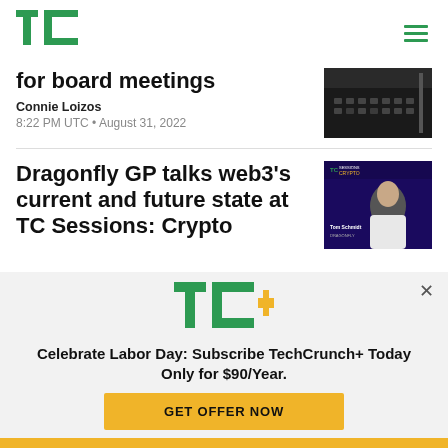TechCrunch
for board meetings
Connie Loizos
8:22 PM UTC • August 31, 2022
Dragonfly GP talks web3's current and future state at TC Sessions: Crypto
[Figure (photo): Dark photo of hands typing on keyboard]
[Figure (photo): TC Sessions Crypto event with Tom Schmidt speaking, dark purple background]
[Figure (logo): TC+ logo with green TC and yellow plus sign]
Celebrate Labor Day: Subscribe TechCrunch+ Today Only for $90/Year.